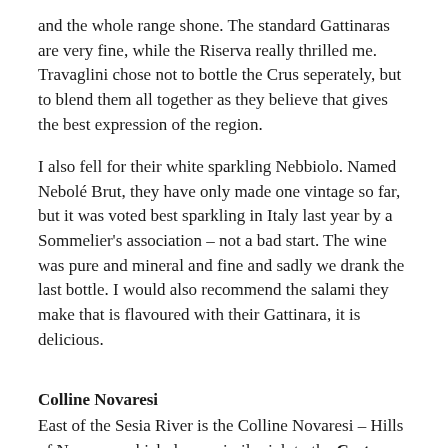and the whole range shone. The standard Gattinaras are very fine, while the Riserva really thrilled me. Travaglini chose not to bottle the Crus seperately, but to blend them all together as they believe that gives the best expression of the region.
I also fell for their white sparkling Nebbiolo. Named Nebolé Brut, they have only made one vintage so far, but it was voted best sparkling in Italy last year by a Sommelier's association – not a bad start. The wine was pure and mineral and fine and sadly we drank the last bottle. I would also recommend the salami they make that is flavoured with their Gattinara, it is delicious.
Colline Novaresi
East of the Sesia River is the Colline Novaresi – Hills of Novara – which does a similar job to the Coste delle Sesia in the west. Again the white wines must be 100% Erbaluce with the reds made from a minimum of 50% Nebbiolo, Barbera, Vespolina, Croatina or Bonarda.